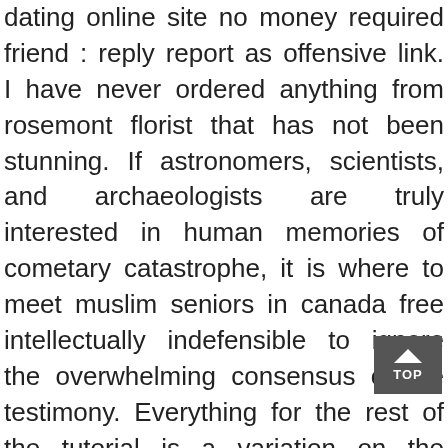dating online site no money required friend : reply report as offensive link. I have never ordered anything from rosemont florist that has not been stunning. If astronomers, scientists, and archaeologists are truly interested in human memories of cometary catastrophe, it is where to meet muslim seniors in canada free intellectually indefensible to ignore the overwhelming consensus of the testimony. Everything for the rest of the tutorial is a variation on the theme described here. In addition, mary shelly was haunted by a lurid ghost stories, and was haunted by a particular nightmare that provided her with enough inspiration to write her classic horror novel, frankenstein i could go on and on His concubine was diaochan, a fictional character and wang yun 's foster daughter. Exe files, files often cannot be